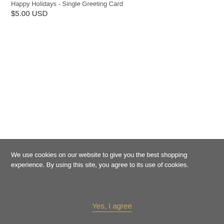Happy Holidays - Single Greeting Card
$5.00 USD
We use cookies on our website to give you the best shopping experience. By using this site, you agree to its use of cookies.
Yes, I agree